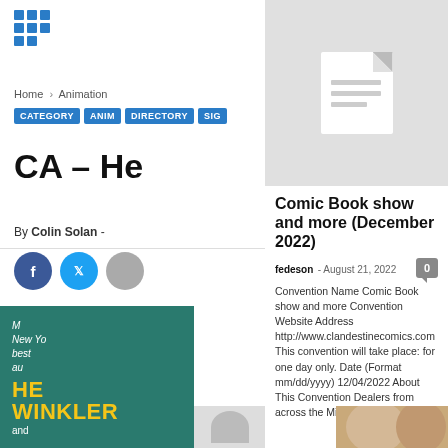[Figure (logo): Blue grid of dots logo]
Home › Animation
CATEGORY
ANIM
DIRECTORY
SIG
CA – He
By Colin Solan -
[Figure (screenshot): Facebook, Twitter, and other social share buttons]
[Figure (photo): Book cover showing HE WINKLER and - New York bestselling author text on teal background]
[Figure (photo): Document placeholder icon on grey background]
Comic Book show and more (December 2022)
fedeson  -  August 21, 2022
Convention Name Comic Book show and more Convention Website Address http://www.clandestinecomics.com This convention will take place: for one day only. Date (Format mm/dd/yyyy) 12/04/2022 About This Convention Dealers from across the Mid-Atlantic...
[Figure (photo): Photo thumbnails row at bottom of page]